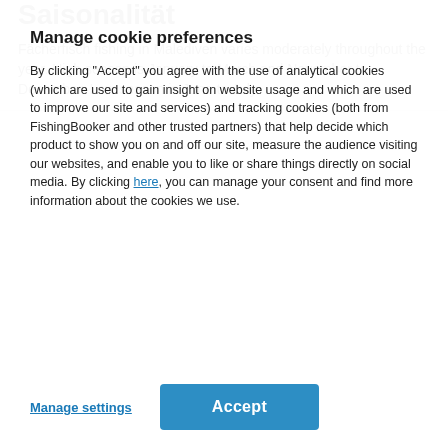Saisonalität
Fächerfisch fishing in Malediven varies moderately throughout the year. High season is January to March and November to December. Low season is June to July.
Manage cookie preferences
By clicking "Accept" you agree with the use of analytical cookies (which are used to gain insight on website usage and which are used to improve our site and services) and tracking cookies (both from FishingBooker and other trusted partners) that help decide which product to show you on and off our site, measure the audience visiting our websites, and enable you to like or share things directly on social media. By clicking here, you can manage your consent and find more information about the cookies we use.
Manage settings
Accept